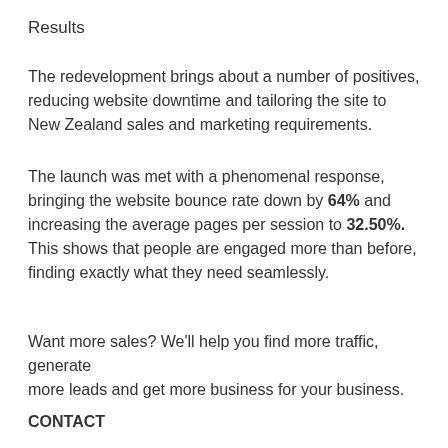Results
The redevelopment brings about a number of positives, reducing website downtime and tailoring the site to New Zealand sales and marketing requirements.
The launch was met with a phenomenal response, bringing the website bounce rate down by 64% and increasing the average pages per session to 32.50%. This shows that people are engaged more than before, finding exactly what they need seamlessly.
Want more sales? We'll help you find more traffic, generate
more leads and get more business for your business.
CONTACT